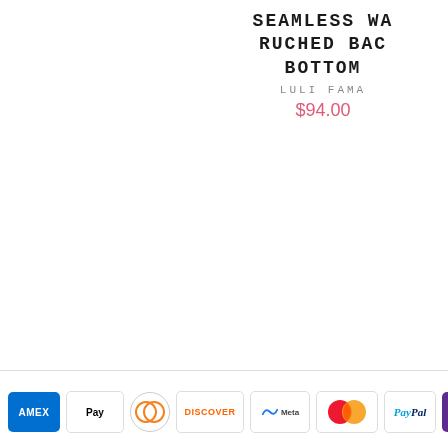SEAMLESS WA RUCHED BAC BOTTOM
LULI FAMA
$94.00
BIKINI BABE NEWSLETTER & EXCLUSIVES
STORE POLICIES
STORE HOURS
CONTACT US
[Figure (other): Payment method icons: AMEX, Apple Pay, Diners, Discover, Meta, Mastercard, PayPal, OPay, Accessibility button]